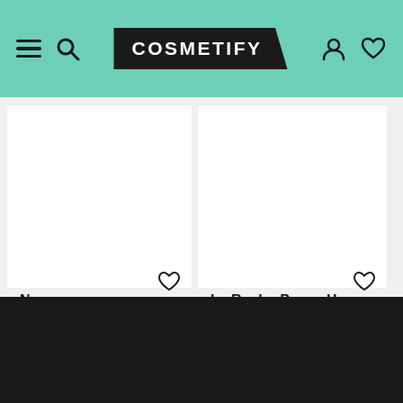COSMETIFY
[Figure (screenshot): Cosmetify e-commerce website screenshot showing product listing page with navigation header, two product cards (Nuxe Men Multi-Purpose Eye Cream $27.00 and La Roche-Posay Hy... Hyaluronic Acid Eye Cream $33.99 sale from $36.00), and dark footer area]
Nuxe
Men Multi-Purpose Eye Cream
$27.00
La Roche-Posay Hy...
Hyaluronic Acid Eye Cream
$33.99  $36.00